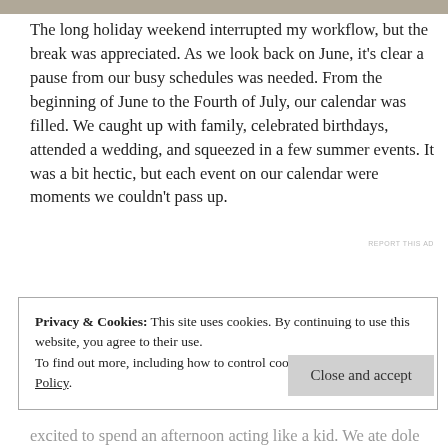[Figure (photo): Partial photo strip visible at top of page, appears to be an outdoor scene]
The long holiday weekend interrupted my workflow, but the break was appreciated. As we look back on June, it's clear a pause from our busy schedules was needed. From the beginning of June to the Fourth of July, our calendar was filled. We caught up with family, celebrated birthdays, attended a wedding, and squeezed in a few summer events. It was a bit hectic, but each event on our calendar were moments we couldn't pass up.
REPORT THIS AD
Privacy & Cookies: This site uses cookies. By continuing to use this website, you agree to their use.
To find out more, including how to control cookies, see here: Cookie Policy
Close and accept
excited to spend an afternoon acting like a kid. We ate dole